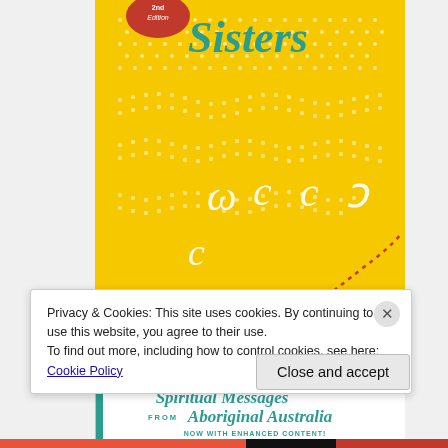[Figure (illustration): Book cover of 'Seven Sisters: Spiritual Messages From Aboriginal Australia' with yellow background featuring Aboriginal dot art patterns, boomerang symbols in white, a dotted red path, teal subtitle text, and a red edition badge at top left.]
Privacy & Cookies: This site uses cookies. By continuing to use this website, you agree to their use.
To find out more, including how to control cookies, see here: Cookie Policy
Close and accept